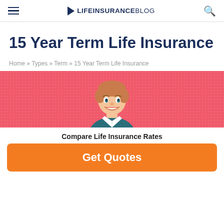LIFEINSURANCEBLOG
15 Year Term Life Insurance
Home » Types » Term » 15 Year Term Life Insurance
[Figure (illustration): Pop-art style illustration of a smiling young man on a red/coral polka-dot background]
Compare Life Insurance Rates
Get Quotes